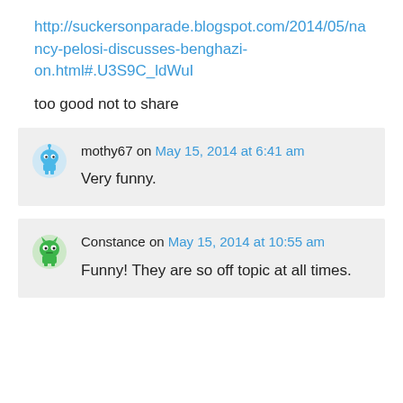http://suckersonparade.blogspot.com/2014/05/nancy-pelosi-discusses-benghazi-on.html#.U3S9C_ldWuI
too good not to share
mothy67 on May 15, 2014 at 6:41 am
Very funny.
Constance on May 15, 2014 at 10:55 am
Funny! They are so off topic at all times.